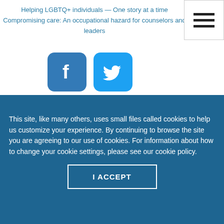Helping LGBTQ+ individuals — One story at a time
Compromising care: An occupational hazard for counselors and leaders
[Figure (other): Hamburger/menu icon button in top right corner]
[Figure (other): Facebook and Twitter social media share icons (blue rounded square buttons)]
COVER STORIES
This site, like many others, uses small files called cookies to help us customize your experience. By continuing to browse the site you are agreeing to our use of cookies. For information about how to change your cookie settings, please see our cookie policy.
I ACCEPT